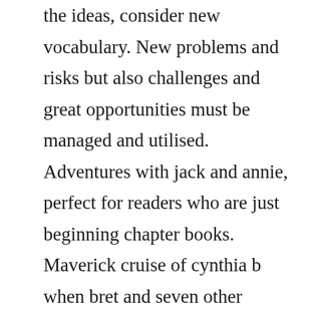the ideas, consider new vocabulary. New problems and risks but also challenges and great opportunities must be managed and utilised. Adventures with jack and annie, perfect for readers who are just beginning chapter books. Maverick cruise of cynthia b when bret and seven other owners of a riverboat start down the mississippi for memphis to sell the brokendown craft, the stakeholders mysteriously start dying one by one. Thanks to the deaconess foundation, the basic kits are free for your use note. Click to